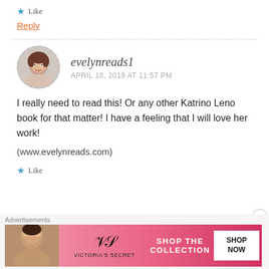★ Like
Reply
evelynreads1
APRIL 18, 2019 AT 11:57 PM
I really need to read this! Or any other Katrino Leno book for that matter! I have a feeling that I will love her work!

(www.evelynreads.com)
★ Like
[Figure (photo): Advertisement banner for Victoria's Secret showing a model, VS logo, 'SHOP THE COLLECTION' text, and 'SHOP NOW' button]